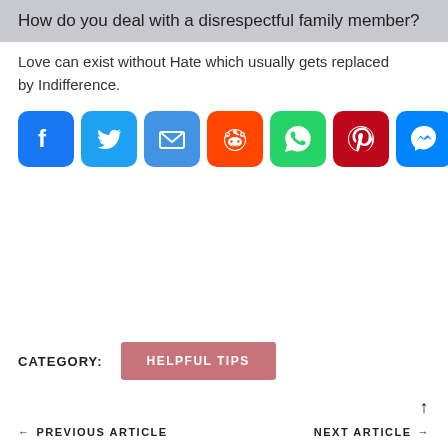How do you deal with a disrespectful family member?
Love can exist without Hate which usually gets replaced by Indifference.
[Figure (infographic): Social share buttons: Facebook, Twitter, Email, Reddit, WhatsApp, Pinterest, Messenger, Telegram, More]
CATEGORY:   HELPFUL TIPS
← PREVIOUS ARTICLE    NEXT ARTICLE →